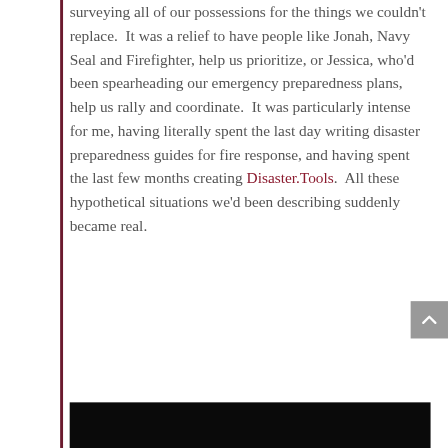surveying all of our possessions for the things we couldn't replace.  It was a relief to have people like Jonah, Navy Seal and Firefighter, help us prioritize, or Jessica, who'd been spearheading our emergency preparedness plans, help us rally and coordinate.  It was particularly intense for me, having literally spent the last day writing disaster preparedness guides for fire response, and having spent the last few months creating Disaster.Tools.  All these hypothetical situations we'd been describing suddenly became real.
[Figure (photo): Dark photograph showing a dimly lit scene, partially visible at the bottom of the page]